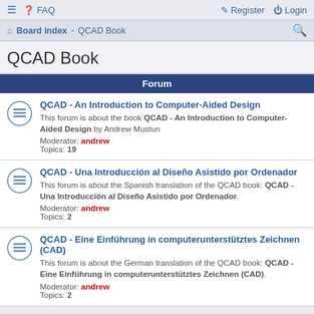☰  FAQ   Register   Login
Board index · QCAD Book
QCAD Book
Forum
QCAD - An Introduction to Computer-Aided Design
This forum is about the book QCAD - An Introduction to Computer-Aided Design by Andrew Mustun
Moderator: andrew
Topics: 19
QCAD - Una Introducción al Diseño Asistido por Ordenador
This forum is about the Spanish translation of the QCAD book: QCAD - Una Introducción al Diseño Asistido por Ordenador.
Moderator: andrew
Topics: 2
QCAD - Eine Einführung in computerunterstütztes Zeichnen (CAD)
This forum is about the German translation of the QCAD book: QCAD - Eine Einführung in computerunterstütztes Zeichnen (CAD).
Moderator: andrew
Topics: 2